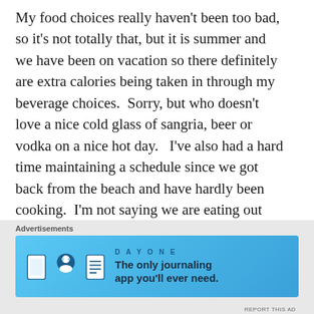My food choices really haven't been too bad, so it's not totally that, but it is summer and we have been on vacation so there definitely are extra calories being taken in through my beverage choices.  Sorry, but who doesn't love a nice cold glass of sangria, beer or vodka on a nice hot day.   I've also had a hard time maintaining a schedule since we got back from the beach and have hardly been cooking.  I'm not saying we are eating out every day, I wish that were the case, but my intake hasn't been the most balanced and I've not said no to fresh ice cream when offered.
[Figure (other): Advertisement banner for DayOne journaling app with text 'The only journaling app you'll ever need.' with app icons on a blue gradient background.]